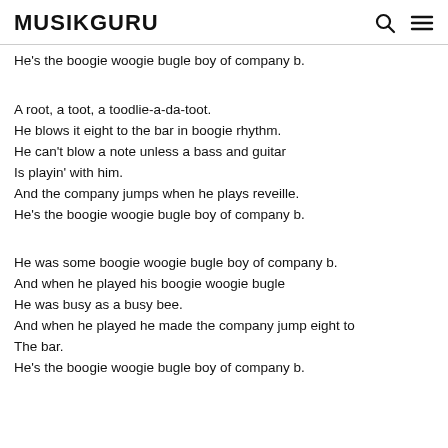MUSIKGURU
He's the boogie woogie bugle boy of company b.

A root, a toot, a toodlie-a-da-toot.
He blows it eight to the bar in boogie rhythm.
He can't blow a note unless a bass and guitar
Is playin' with him.
And the company jumps when he plays reveille.
He's the boogie woogie bugle boy of company b.

He was some boogie woogie bugle boy of company b.
And when he played his boogie woogie bugle
He was busy as a busy bee.
And when he played he made the company jump eight to
The bar.
He's the boogie woogie bugle boy of company b.